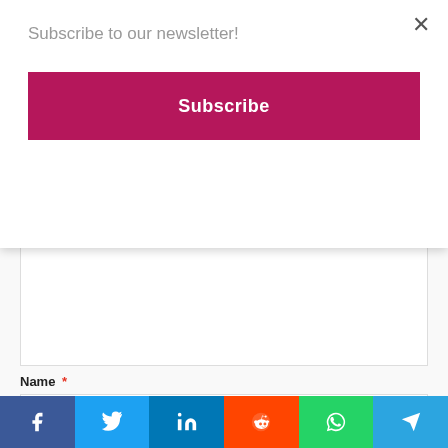Subscribe to our newsletter!
Subscribe
Your email address will not be published. Required fields are marked
Name *
[Figure (infographic): Social share bar with Facebook, Twitter, LinkedIn, Reddit, WhatsApp, and Telegram buttons]